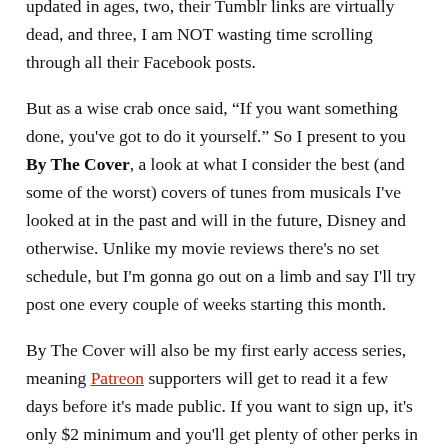updated in ages, two, their Tumblr links are virtually dead, and three, I am NOT wasting time scrolling through all their Facebook posts.
But as a wise crab once said, “If you want something done, you've got to do it yourself.” So I present to you By The Cover, a look at what I consider the best (and some of the worst) covers of tunes from musicals I've looked at in the past and will in the future, Disney and otherwise. Unlike my movie reviews there's no set schedule, but I'm gonna go out on a limb and say I'll try post one every couple of weeks starting this month.
By The Cover will also be my first early access series, meaning Patreon supporters will get to read it a few days before it's made public. If you want to sign up, it's only $2 minimum and you'll get plenty of other perks in the bargain.